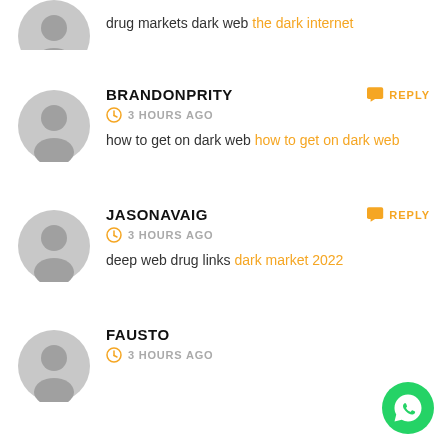drug markets dark web the dark internet
BRANDONPRITY
3 HOURS AGO
how to get on dark web how to get on dark web
JASONAVAIG
3 HOURS AGO
deep web drug links dark market 2022
FAUSTO
3 HOURS AGO